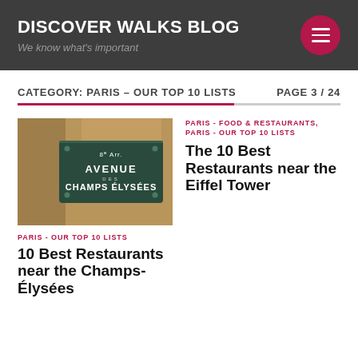DISCOVER WALKS BLOG
We know what's important
CATEGORY: PARIS – OUR TOP 10 LISTS    PAGE 3 / 24
[Figure (photo): Street sign photo showing Avenue des Champs-Élysées in Paris, France]
PARIS - OUR TOP 10 LISTS
10 Best Restaurants near the Champs-Élysées
PARIS - FOOD & RESTAURANTS, PARIS - OUR TOP 10 LISTS
The 10 Best Restaurants near the Eiffel Tower